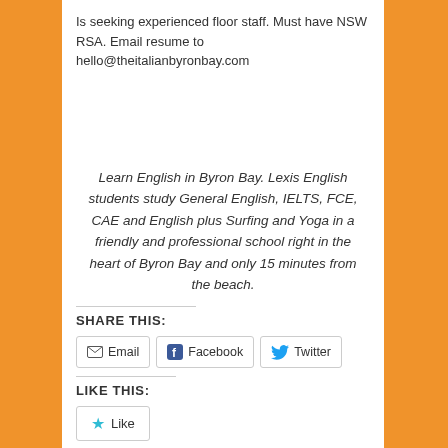Is seeking experienced floor staff. Must have NSW RSA. Email resume to hello@theitalianbyronbay.com
Learn English in Byron Bay. Lexis English students study General English, IELTS, FCE, CAE and English plus Surfing and Yoga in a friendly and professional school right in the heart of Byron Bay and only 15 minutes from the beach.
SHARE THIS:
Email  Facebook  Twitter
LIKE THIS:
Like
Be the first to like this.